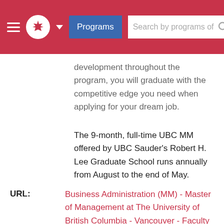Programs  Search by programs of  [user icon]
development throughout the program, you will graduate with the competitive edge you need when applying for your dream job.
The 9-month, full-time UBC MM offered by UBC Sauder's Robert H. Lee Graduate School runs annually from August to the end of May.
URL:  Business Administration (MM) - Master of Management at The University of British Columbia - Vancouver - Faculty of Graduate Studies